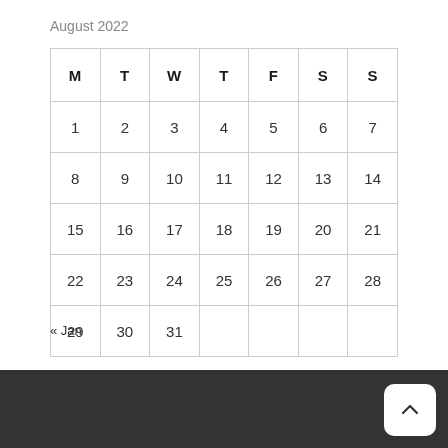August 2022
| M | T | W | T | F | S | S |
| --- | --- | --- | --- | --- | --- | --- |
| 1 | 2 | 3 | 4 | 5 | 6 | 7 |
| 8 | 9 | 10 | 11 | 12 | 13 | 14 |
| 15 | 16 | 17 | 18 | 19 | 20 | 21 |
| 22 | 23 | 24 | 25 | 26 | 27 | 28 |
| 29 | 30 | 31 |  |  |  |  |
« Jan